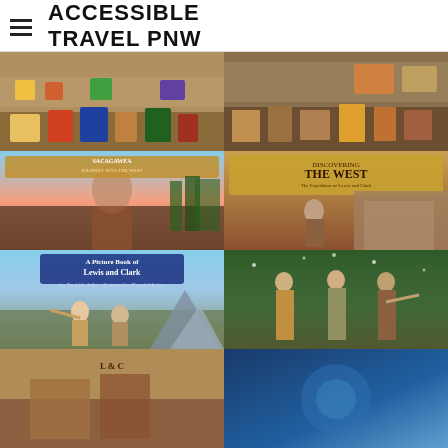ACCESSIBLE TRAVEL PNW
[Figure (photo): Gift shop display with colorful toys, books, and merchandise on shelves — left half]
[Figure (photo): Gift shop display with books and merchandise on shelves — right half]
[Figure (photo): Book cover: Sacagawea Journey into the West — illustrated cover showing Native American woman holding a child on a coastal landscape]
[Figure (photo): Book cover: Discovering the West — The Expedition of Lewis and Clark — illustrated cover showing explorer on cliffs with a child]
[Figure (photo): Book cover: A Picture Book of Lewis and Clark by David A. Adler, illustrated by Ronald Himler — two men pointing toward mountains]
[Figure (photo): Book cover or illustration: Lewis, Clark, and Sacagawea standing together — Sacagawea pointing westward]
[Figure (photo): Partial book cover — bottom of page, left — Lewis and Clark related book]
[Figure (photo): Partial book cover — bottom of page, right — blue-toned cover]